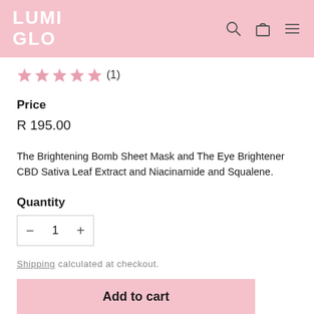LUMI GLO
★★★★★ (1)
Price
R 195.00
The Brightening Bomb Sheet Mask and The Eye Brightener CBD Sativa Leaf Extract and Niacinamide and Squalene.
Quantity
− 1 +
Shipping calculated at checkout.
Add to cart